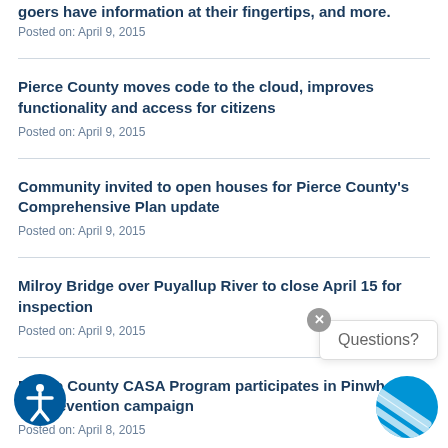goers have information at their fingertips, and more.
Posted on: April 9, 2015
Pierce County moves code to the cloud, improves functionality and access for citizens
Posted on: April 9, 2015
Community invited to open houses for Pierce County's Comprehensive Plan update
Posted on: April 9, 2015
Milroy Bridge over Puyallup River to close April 15 for inspection
Posted on: April 9, 2015
Pierce County CASA Program participates in Pinwheels for Prevention campaign
Posted on: April 8, 2015
Pierce County opens application window for Historic Preservation Grant Program